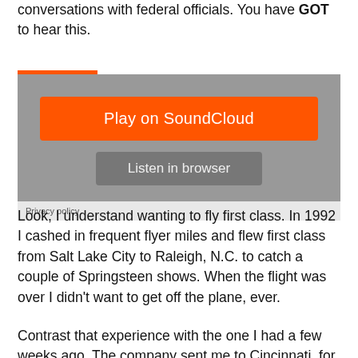conversations with federal officials. You have GOT to hear this.
[Figure (screenshot): SoundCloud embedded audio player widget with orange 'Play on SoundCloud' button and grey 'Listen in browser' button on a grey background.]
Look, I understand wanting to fly first class. In 1992 I cashed in frequent flyer miles and flew first class from Salt Lake City to Raleigh, N.C. to catch a couple of Springsteen shows. When the flight was over I didn't want to get off the plane, ever.
Contrast that experience with the one I had a few weeks ago. The company sent me to Cincinnati, for